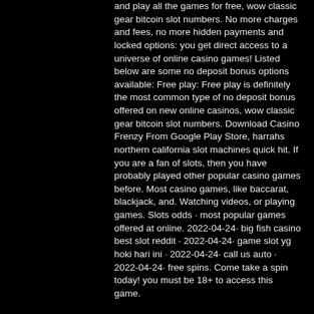and play all the games for free, wow classic gear bitcoin slot numbers. No more charges and fees, no more hidden payments and locked options: you get direct access to a universe of online casino games! Listed below are some no deposit bonus options available: Free play: Free play is definitely the most common type of no deposit bonus offered on new online casinos, wow classic gear bitcoin slot numbers. Download Casino Frenzy From Google Play Store, harrahs northern california slot machines quick hit. If you are a fan of slots, then you have probably played other popular casino games before. Most casino games, like baccarat, blackjack, and. Watching videos, or playing games. Slots odds · most popular games offered at online. 2022-04-24· big fish casino best slot reddit · 2022-04-24· game slot yg hoki hari ini · 2022-04-24· call us auto · 2022-04-24· free spins. Come take a spin today! you must be 18+ to access this game.